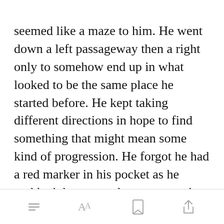seemed like a maze to him. He went down a left passageway then a right only to somehow end up in what looked to be the same place he started before. He kept taking different directions in hope to find something that might mean some kind of progression. He forgot he had a red marker in his pocket as he grabbed that out and put an x on the walls he tr[Open in app]he knew